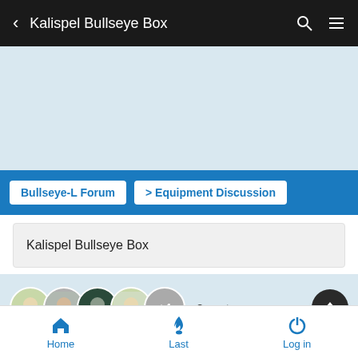Kalispel Bullseye Box
[Figure (other): Advertisement banner area, light blue background]
Bullseye-L Forum > Equipment Discussion
Kalispel Bullseye Box
8 posters
Home  Last  Log in